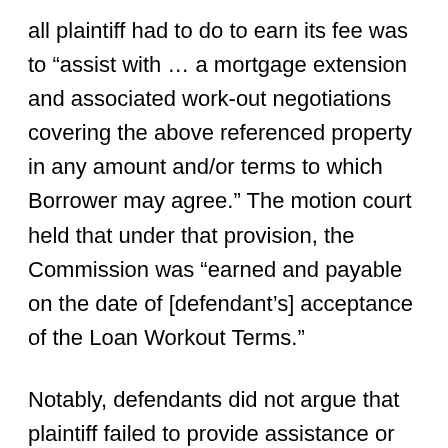all plaintiff had to do to earn its fee was to “assist with … a mortgage extension and associated work-out negotiations covering the above referenced property in any amount and/or terms to which Borrower may agree.” The motion court held that under that provision, the Commission was “learned and payable on the date of [defendant’s] acceptance of the Loan Workout Terms.”
Notably, defendants did not argue that plaintiff failed to provide assistance or that they did not actually agree to the amount and terms of the loan with Madison. Rather, their defense was that plaintiff failed to obtain certain financing. The Court noted that “[t]hat…